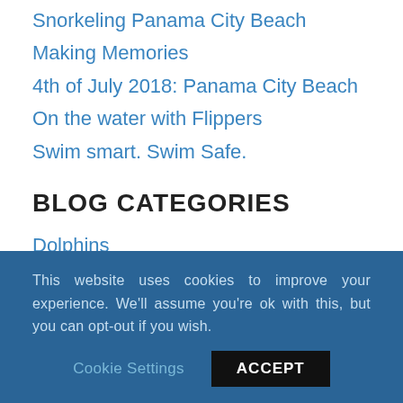Snorkeling Panama City Beach
Making Memories
4th of July 2018: Panama City Beach
On the water with Flippers
Swim smart. Swim Safe.
BLOG CATEGORIES
Dolphins
Featured
Jet Ski
Panama City Beach
This website uses cookies to improve your experience. We'll assume you're ok with this, but you can opt-out if you wish.
Cookie Settings
ACCEPT